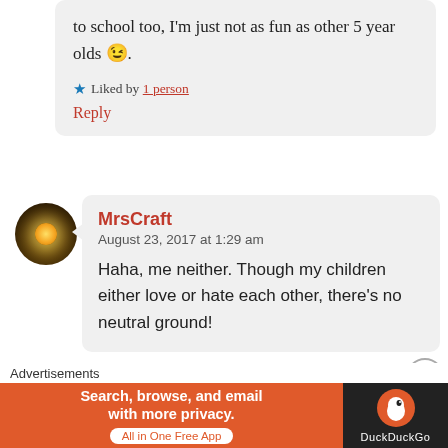to school too, I'm just not as fun as other 5 year olds 😉.
★ Liked by 1 person
Reply
[Figure (photo): Round avatar photo of a glowing golden orb/lamp against a dark brown background]
MrsCraft
August 23, 2017 at 1:29 am
Haha, me neither. Though my children either love or hate each other, there's no neutral ground!
[Figure (infographic): DuckDuckGo advertisement banner: orange background on left with text 'Search, browse, and email with more privacy. All in One Free App', dark background on right with DuckDuckGo logo and name]
Advertisements